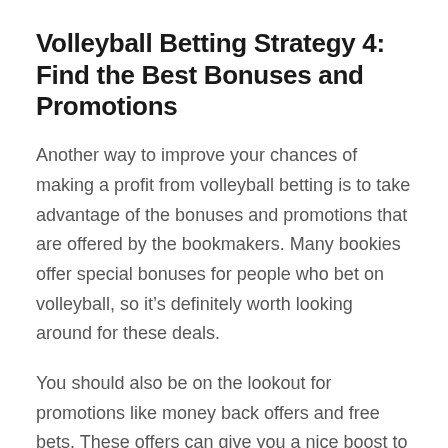Volleyball Betting Strategy 4: Find the Best Bonuses and Promotions
Another way to improve your chances of making a profit from volleyball betting is to take advantage of the bonuses and promotions that are offered by the bookmakers. Many bookies offer special bonuses for people who bet on volleyball, so it’s definitely worth looking around for these deals.
You should also be on the lookout for promotions like money back offers and free bets. These offers can give you a nice boost to your profits, and they’re definitely worth taking